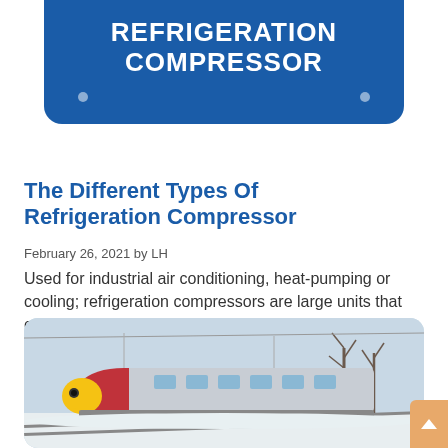[Figure (infographic): Blue rounded banner with white bold uppercase text reading 'TYPES OF REFRIGERATION COMPRESSOR' with two small white dots on either side at the bottom]
The Different Types Of Refrigeration Compressor
February 26, 2021 by LH
Used for industrial air conditioning, heat-pumping or cooling; refrigeration compressors are large units that cool...
[Figure (photo): A red and yellow high-speed train traveling on snowy winter tracks with bare trees in the background]